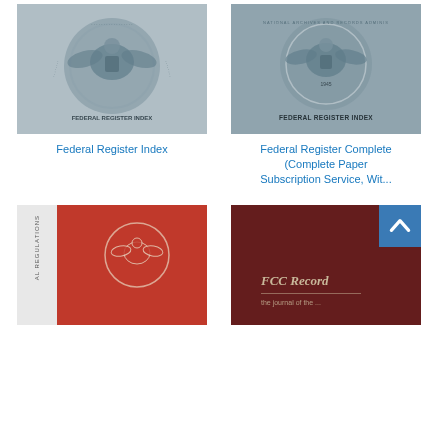[Figure (illustration): Cover of Federal Register Index publication showing US government seal stamp, bluish-gray tones, with text FEDERAL REGISTER INDEX at bottom]
[Figure (illustration): Cover of Federal Register Index publication showing National Archives and Records Administration seal, bluish-gray tones, with text FEDERAL REGISTER INDEX at bottom]
Federal Register Index
Federal Register Complete (Complete Paper Subscription Service, Wit...
[Figure (illustration): Cover of Code of Federal Regulations book showing red cover with white eagle seal and text AL REGULATIONS vertically on spine]
[Figure (illustration): Cover of FCC Record book showing dark maroon/burgundy cover with FCC Record text visible]